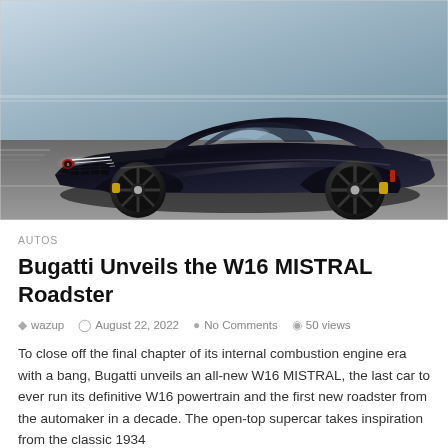[Figure (photo): A sleek black Bugatti W16 MISTRAL roadster supercar photographed from a low front-side angle, showing its aggressive aerodynamic design with no roof, distinctive headlights, and large dark alloy wheels with yellow brake calipers. Shot on a road with motion blur background suggesting speed.]
AUTOS
Bugatti Unveils the W16 MISTRAL Roadster
wazup   August 22, 2022   No Comments   50 views
To close off the final chapter of its internal combustion engine era with a bang, Bugatti unveils an all-new W16 MISTRAL, the last car to ever run its definitive W16 powertrain and the first new roadster from the automaker in a decade. The open-top supercar takes inspiration from the classic 1934